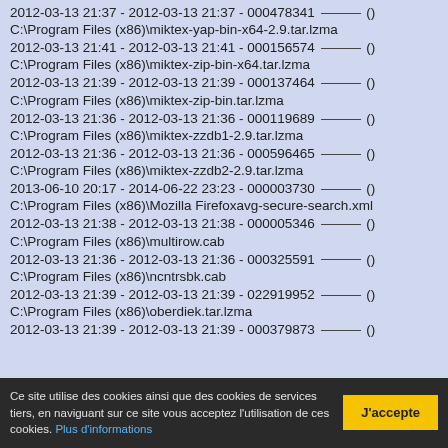2012-03-13 21:37 - 2012-03-13 21:37 - 000478341 _____ ()
C:\Program Files (x86)\miktex-yap-bin-x64-2.9.tar.lzma
2012-03-13 21:41 - 2012-03-13 21:41 - 000156574 _____ ()
C:\Program Files (x86)\miktex-zip-bin-x64.tar.lzma
2012-03-13 21:39 - 2012-03-13 21:39 - 000137464 _____ ()
C:\Program Files (x86)\miktex-zip-bin.tar.lzma
2012-03-13 21:36 - 2012-03-13 21:36 - 000119689 _____ ()
C:\Program Files (x86)\miktex-zzdb1-2.9.tar.lzma
2012-03-13 21:36 - 2012-03-13 21:36 - 000596465 _____ ()
C:\Program Files (x86)\miktex-zzdb2-2.9.tar.lzma
2013-06-10 20:17 - 2014-06-22 23:23 - 000003730 _____ ()
C:\Program Files (x86)\Mozilla Firefoxavg-secure-search.xml
2012-03-13 21:38 - 2012-03-13 21:38 - 000005346 _____ ()
C:\Program Files (x86)\multirow.cab
2012-03-13 21:36 - 2012-03-13 21:36 - 000325591 _____ ()
C:\Program Files (x86)\ncntrsbk.cab
2012-03-13 21:39 - 2012-03-13 21:39 - 022919952 _____ ()
C:\Program Files (x86)\oberdiek.tar.lzma
2012-03-13 21:39 - 2012-03-13 21:39 - 000379873 ()
Ce site utilise des cookies ainsi que des cookies de services tiers, en naviguant sur ce site vous acceptez l'utilisation de ces cookies. Plus d'informations